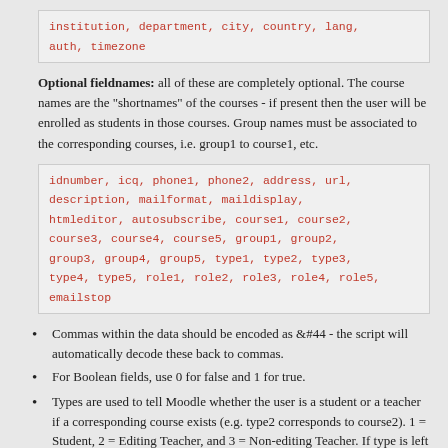institution, department, city, country, lang, auth, timezone
Optional fieldnames: all of these are completely optional. The course names are the "shortnames" of the courses - if present then the user will be enrolled as students in those courses. Group names must be associated to the corresponding courses, i.e. group1 to course1, etc.
idnumber, icq, phone1, phone2, address, url, description, mailformat, maildisplay, htmleditor, autosubscribe, course1, course2, course3, course4, course5, group1, group2, group3, group4, group5, type1, type2, type3, type4, type5, role1, role2, role3, role4, role5, emailstop
Commas within the data should be encoded as &#44 - the script will automatically decode these back to commas.
For Boolean fields, use 0 for false and 1 for true.
Types are used to tell Moodle whether the user is a student or a teacher if a corresponding course exists (e.g. type2 corresponds to course2). 1 = Student, 2 = Editing Teacher, and 3 = Non-editing Teacher. If type is left